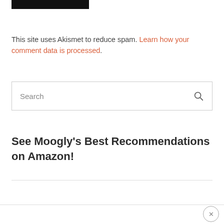[Figure (other): Black bar/logo image at top left]
This site uses Akismet to reduce spam. Learn how your comment data is processed.
[Figure (screenshot): Search input box with magnifying glass icon]
See Moogly’s Best Recommendations on Amazon!